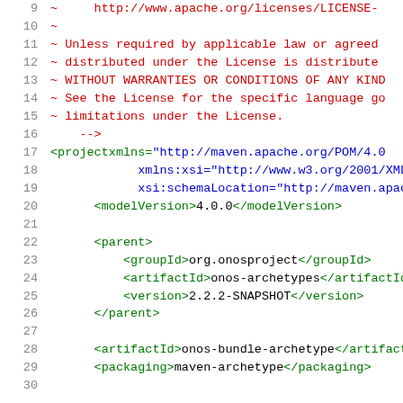Source code / XML snippet showing Maven POM file with Apache license comment and project structure, lines 9-30
Line 9: ~ http://www.apache.org/licenses/LICENSE-
Line 10: ~
Line 11: ~ Unless required by applicable law or agreed
Line 12: ~ distributed under the License is distribute
Line 13: ~ WITHOUT WARRANTIES OR CONDITIONS OF ANY KIND
Line 14: ~ See the License for the specific language go
Line 15: ~ limitations under the License.
Line 16: -->
Line 17: <project xmlns="http://maven.apache.org/POM/4.0
Line 18: xmlns:xsi="http://www.w3.org/2001/XMLSc
Line 19: xsi:schemaLocation="http://maven.apache
Line 20: <modelVersion>4.0.0</modelVersion>
Line 21: (blank)
Line 22: <parent>
Line 23: <groupId>org.onosproject</groupId>
Line 24: <artifactId>onos-archetypes</artifactId>
Line 25: <version>2.2.2-SNAPSHOT</version>
Line 26: </parent>
Line 27: (blank)
Line 28: <artifactId>onos-bundle-archetype</artifactId>
Line 29: <packaging>maven-archetype</packaging>
Line 30: (blank)